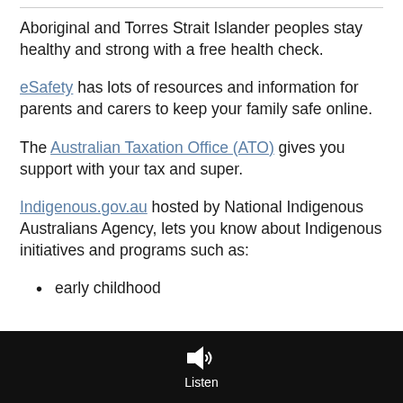Aboriginal and Torres Strait Islander peoples stay healthy and strong with a free health check.
eSafety has lots of resources and information for parents and carers to keep your family safe online.
The Australian Taxation Office (ATO) gives you support with your tax and super.
Indigenous.gov.au hosted by National Indigenous Australians Agency, lets you know about Indigenous initiatives and programs such as:
early childhood
Listen